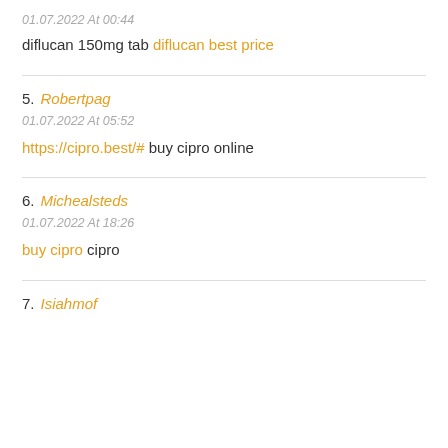01.07.2022 At 00:44
diflucan 150mg tab diflucan best price
5. Robertpag
01.07.2022 At 05:52
https://cipro.best/# buy cipro online
6. Michealsteds
01.07.2022 At 18:26
buy cipro cipro
7. Isiahmof